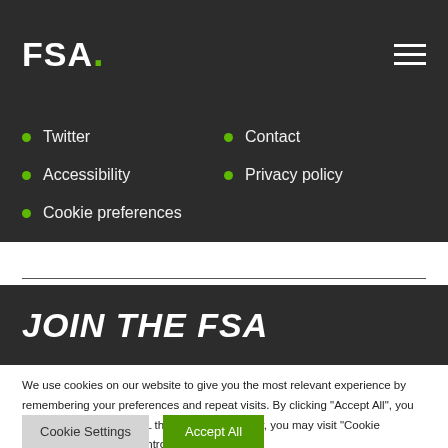FSA.
Twitter
Contact
Accessibility
Privacy policy
Cookie preferences
JOIN THE FSA
We use cookies on our website to give you the most relevant experience by remembering your preferences and repeat visits. By clicking "Accept All", you consent to the use of ALL the cookies. However, you may visit "Cookie Settings" to provide a controlled consent.
Cookie Settings
Accept All